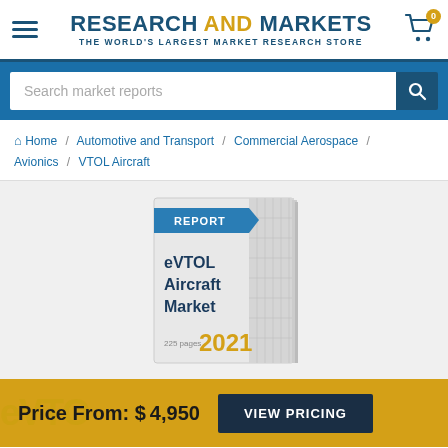RESEARCH AND MARKETS – THE WORLD'S LARGEST MARKET RESEARCH STORE
Search market reports
Home / Automotive and Transport / Commercial Aerospace / Avionics / VTOL Aircraft
[Figure (illustration): 3D book cover with title 'eVTOL Aircraft Market', '225 pages', '2021', blue REPORT label, grid pattern on cover]
Price From: $4,950  VIEW PRICING